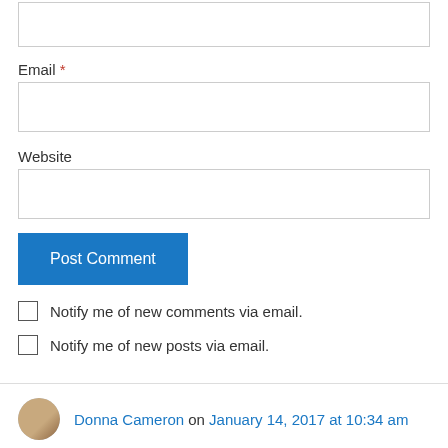[Figure (other): Empty text input field at the top of the page]
Email *
[Figure (other): Email input field]
Website
[Figure (other): Website input field]
Post Comment
Notify me of new comments via email.
Notify me of new posts via email.
Donna Cameron on January 14, 2017 at 10:34 am